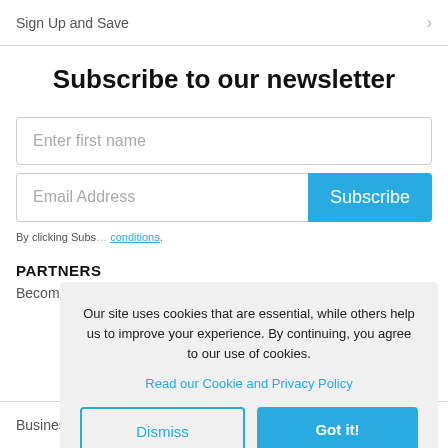Sign Up and Save
Subscribe to our newsletter
[Figure (screenshot): Input field with placeholder 'Enter first name']
[Figure (screenshot): Email address input field with placeholder 'Email Address' and a blue Subscribe button]
By clicking Subs... conditions.
PARTNERS
Become an Affil...
[Figure (screenshot): Cookie consent popup: 'Our site uses cookies that are essential, while others help us to improve your experience. By continuing, you agree to our use of cookies.' with 'Read our Cookie and Privacy Policy' link, and two buttons: Dismiss and Got it!]
Business Travel